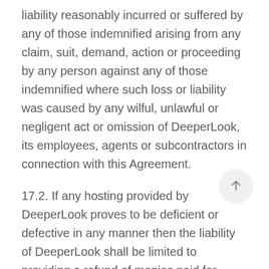liability reasonably incurred or suffered by any of those indemnified arising from any claim, suit, demand, action or proceeding by any person against any of those indemnified where such loss or liability was caused by any wilful, unlawful or negligent act or omission of DeeperLook, its employees, agents or subcontractors in connection with this Agreement.
17.2. If any hosting provided by DeeperLook proves to be deficient or defective in any manner then the liability of DeeperLook shall be limited to providing a refund of monies paid for hosting during that period that such deficiency or defect